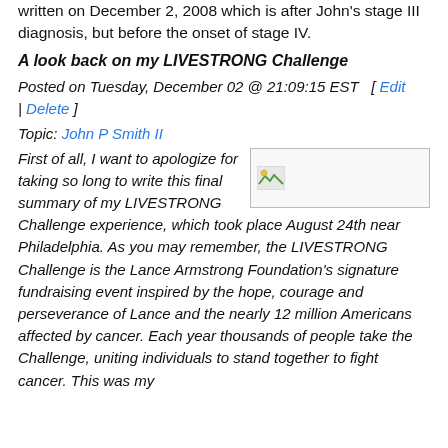written on December 2, 2008 which is after John's stage III diagnosis, but before the onset of stage IV.
A look back on my LIVESTRONG Challenge
Posted on Tuesday, December 02 @ 21:09:15 EST   [ Edit | Delete ]
Topic: John P Smith II
First of all, I want to apologize for taking so long to write this final summary of my LIVESTRONG Challenge experience, which took place August 24th near Philadelphia. As you may remember, the LIVESTRONG Challenge is the Lance Armstrong Foundation's signature fundraising event inspired by the hope, courage and perseverance of Lance and the nearly 12 million Americans affected by cancer. Each year thousands of people take the Challenge, uniting individuals to stand together to fight cancer. This was my
[Figure (photo): Small broken/placeholder image thumbnail, rectangular with image icon in top-left corner]